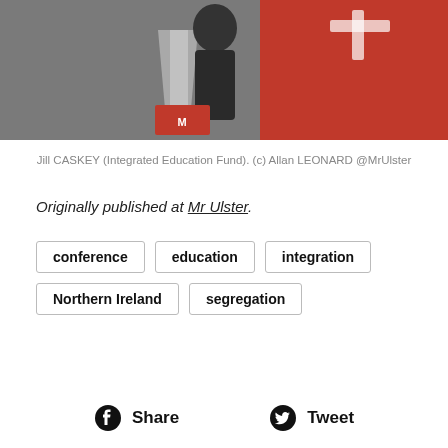[Figure (photo): Person speaking at a podium with a red background featuring white logo/text. Photo credit: Allan LEONARD @MrUlster]
Jill CASKEY (Integrated Education Fund). (c) Allan LEONARD @MrUlster
Originally published at Mr Ulster.
conference
education
integration
Northern Ireland
segregation
Share   Tweet